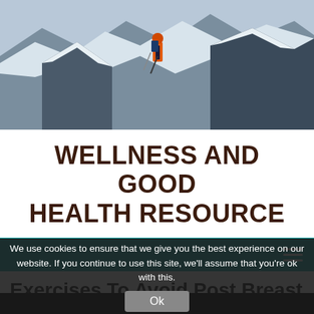[Figure (photo): Mountain climber in orange jacket on snowy rocky terrain, viewed from below]
WELLNESS AND GOOD HEALTH RESOURCE
[Figure (other): Teal navigation bar with hamburger menu icon on the right]
Exercises To Avoid Post Breast Surgery
We use cookies to ensure that we give you the best experience on our website. If you continue to use this site, we'll assume that you're ok with this.
[Figure (photo): Dark partial image at bottom of page, article featured image]